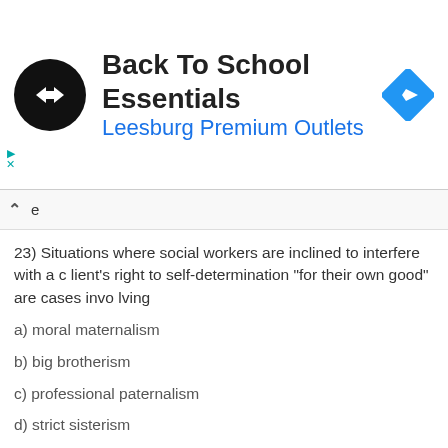[Figure (infographic): Advertisement banner for Back To School Essentials at Leesburg Premium Outlets, with a black circular logo with white arrows, the title text, subtitle in blue, and a blue diamond navigation icon.]
23) Situations where social workers are inclined to interfere with a client's right to self-determination "for their own good" are cases involving
a) moral maternalism
b) big brotherism
c) professional paternalism
d) strict sisterism
24) Social workers who have divided loyalties and believe that agency policies, rules, or regulations are unjust, have a responsibility to challenge them and seek necessary change.